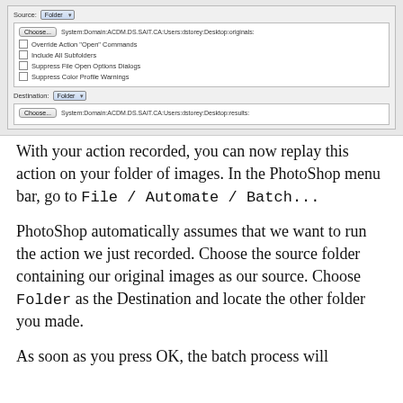[Figure (screenshot): Photoshop Batch dialog screenshot showing Source set to Folder with path System:Domain:ACDM.DS.SAIT.CA:Users:dstorey:Desktop:originals: and checkboxes for Override Action Open Commands, Include All Subfolders, Suppress File Open Options Dialogs, Suppress Color Profile Warnings. Destination set to Folder with path System:Domain:ACDM.DS.SAIT.CA:Users:dstorey:Desktop:results:]
With your action recorded, you can now replay this action on your folder of images. In the PhotoShop menu bar, go to File / Automate / Batch...
PhotoShop automatically assumes that we want to run the action we just recorded. Choose the source folder containing our original images as our source. Choose Folder as the Destination and locate the other folder you made.
As soon as you press OK, the batch process will